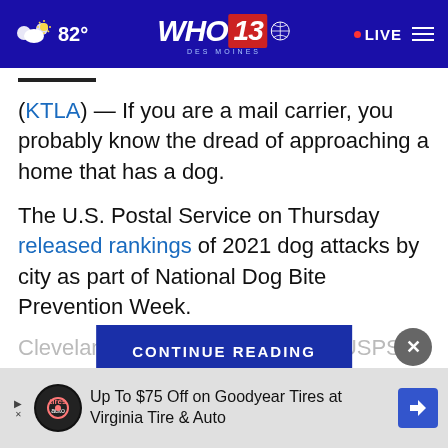WHO 13 DES MOINES — 82° — LIVE
(KTLA) — If you are a mail carrier, you probably know the dread of approaching a home that has a dog.
The U.S. Postal Service on Thursday released rankings of 2021 dog attacks by city as part of National Dog Bite Prevention Week.
Cleveland topp... th 58 USPS
[Figure (screenshot): CONTINUE READING button overlay]
[Figure (screenshot): Close (X) circle button]
Up To $75 Off on Goodyear Tires at Virginia Tire & Auto